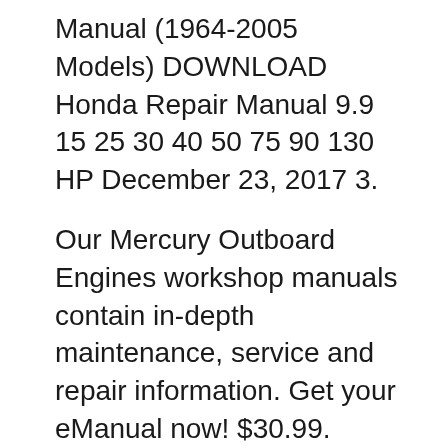Manual (1964-2005 Models) DOWNLOAD Honda Repair Manual 9.9 15 25 30 40 50 75 90 130 HP December 23, 2017 3.
Our Mercury Outboard Engines workshop manuals contain in-depth maintenance, service and repair information. Get your eManual now! $30.99. VIEW DETAILS. 2011 Mercury Mariner Service & Repair Manual Software. $25.99. VIEW DETAILS. Mercury 40 / вЂ¦ The comprehensive information in a Mercury outboard motor manual allows the reader to clearly see and understand the steps necessary to properly work on a particular component. Shop Outboard …